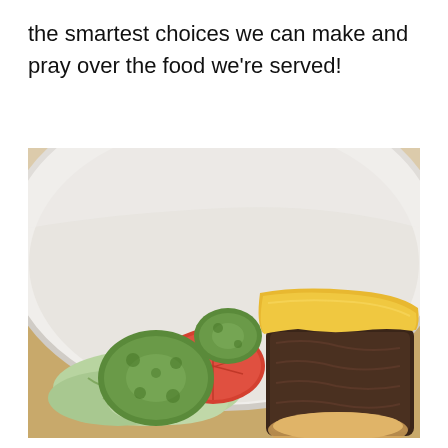the smartest choices we can make and pray over the food we're served!
[Figure (photo): A white plate on a wooden table surface with a cheeseburger patty topped with melted yellow American cheese on the right side, and on the left side pickles, sliced tomato, and shredded lettuce. A white bun is partially visible at the bottom.]